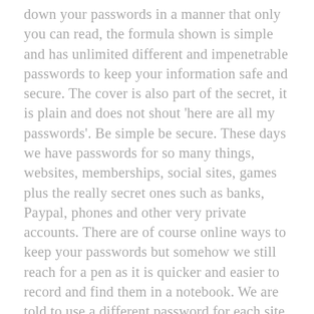down your passwords in a manner that only you can read, the formula shown is simple and has unlimited different and impenetrable passwords to keep your information safe and secure. The cover is also part of the secret, it is plain and does not shout 'here are all my passwords'. Be simple be secure. These days we have passwords for so many things, websites, memberships, social sites, games plus the really secret ones such as banks, Paypal, phones and other very private accounts. There are of course online ways to keep your passwords but somehow we still reach for a pen as it is quicker and easier to record and find them in a notebook. We are told to use a different password for each site but I suspect that most of us are afraid of not being able to remember them and so we use a favorite one over and over. Of course that offers hackers a wide open gate to your privacy once they have managed to crack one site, they have them all and some websites have far less security than others. This simple Secret Password Book formula shows you how to overcome